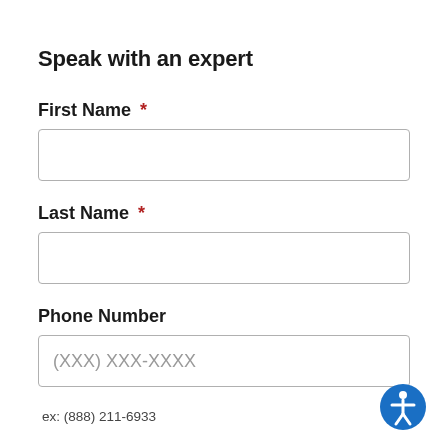Speak with an expert
First Name *
Last Name *
Phone Number
(XXX) XXX-XXXX
ex: (888) 211-6933